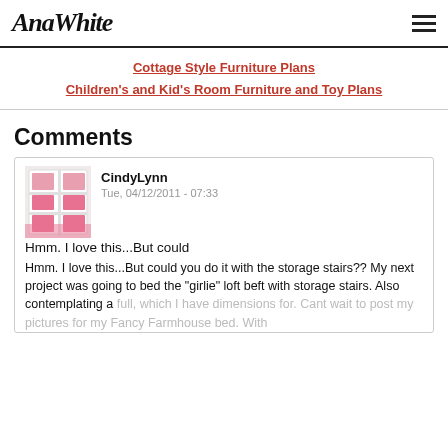AnaWhite
Cottage Style Furniture Plans
Children's and Kid's Room Furniture and Toy Plans
Comments
CindyLynn
Tue, 04/12/2011 - 07:33
Hmm. I love this...But could
Hmm. I love this...But could you do it with the storage stairs?? My next project was going to bed the "girlie" loft beft with storage stairs. Also contemplating a full, which I have dimensions for. Cant wait to post my pictures for my Fancy Farmhouse bed. With